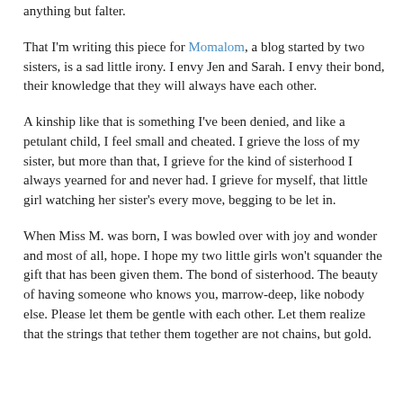anything but falter.
That I'm writing this piece for Momalom, a blog started by two sisters, is a sad little irony. I envy Jen and Sarah. I envy their bond, their knowledge that they will always have each other.
A kinship like that is something I've been denied, and like a petulant child, I feel small and cheated. I grieve the loss of my sister, but more than that, I grieve for the kind of sisterhood I always yearned for and never had. I grieve for myself, that little girl watching her sister's every move, begging to be let in.
When Miss M. was born, I was bowled over with joy and wonder and most of all, hope. I hope my two little girls won't squander the gift that has been given them. The bond of sisterhood. The beauty of having someone who knows you, marrow-deep, like nobody else. Please let them be gentle with each other. Let them realize that the strings that tether them together are not chains, but gold.